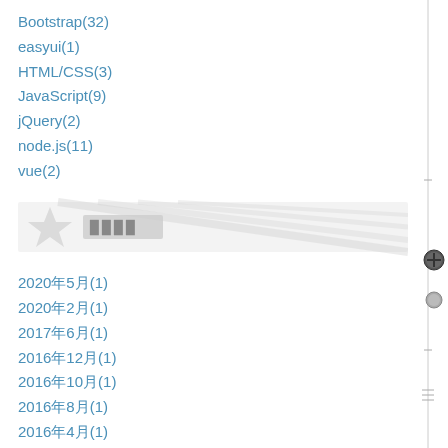Bootstrap(32)
easyui(1)
HTML/CSS(3)
JavaScript(9)
jQuery(2)
node.js(11)
vue(2)
[Figure (other): Banner image with star icon and placeholder text (boxed characters), gray/white watermark style banner]
2020年5月(1)
2020年2月(1)
2017年6月(1)
2016年12月(1)
2016年10月(1)
2016年8月(1)
2016年4月(1)
2015年8月(1)
2015年7月(2)
2015年5月(9)
2015年4月(10)